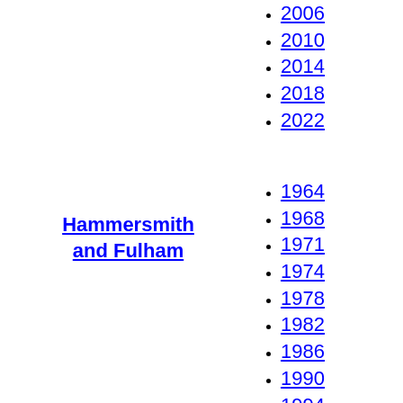2006
2010
2014
2018
2022
Hammersmith and Fulham
1964
1968
1971
1974
1978
1982
1986
1990
1994
1998
2002
2006
2010
2014
2018
2022
1964
1968